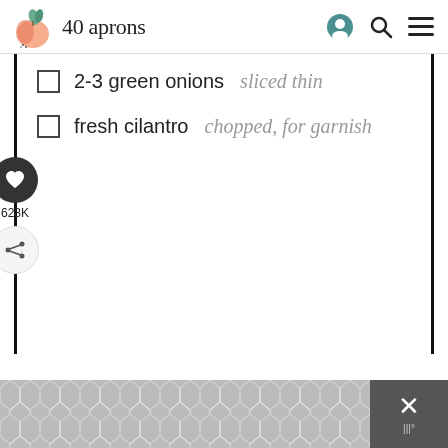40 aprons
2-3 green onions sliced thin
fresh cilantro chopped, for garnish
[Figure (infographic): Bottom advertisement bar with chevron/honeycomb pattern in grey and a close (X) button on the right]